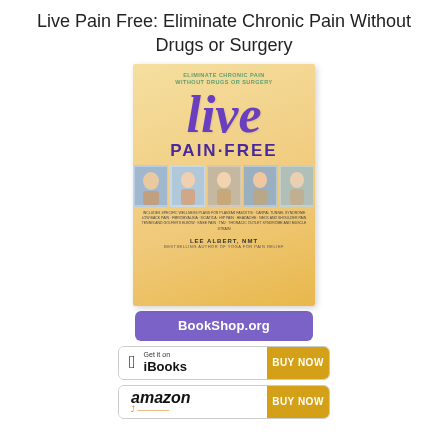Live Pain Free: Eliminate Chronic Pain Without Drugs or Surgery
[Figure (illustration): Book cover of 'Live Pain Free: Eliminate Chronic Pain Without Drugs or Surgery' by Lee Albert, NMT. The cover has a warm golden/cream gradient background, with 'Eliminate Chronic Pain Without Drugs or Surgery' in green text at the top, the word 'live' in large purple italic script, 'PAIN·FREE' in bold purple capital letters, a strip of photos showing people receiving treatment, small text listing conditions covered, and the author name Lee Albert, NMT at the bottom.]
BookShop.org
Get it on iBooks  BUY NOW
amazon  BUY NOW